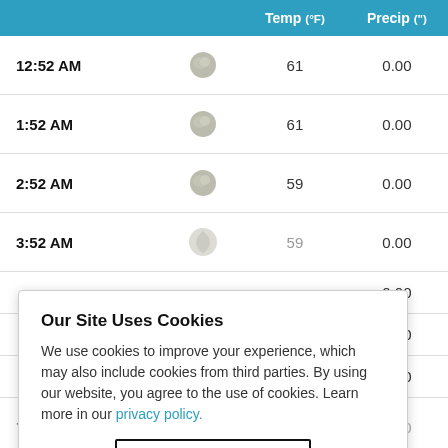|  |  | Temp (°F) | Precip (") |
| --- | --- | --- | --- |
| 12:52 AM | [icon] | 61 | 0.00 |
| 1:52 AM | [icon] | 61 | 0.00 |
| 2:52 AM | [icon] | 59 | 0.00 |
| 3:52 AM | [icon] | 59 | 0.00 |
|  |  |  | 0.00 |
|  |  |  | 0.00 |
|  |  |  | 0.00 |
| 7:52 AM | [icon] | 62 | 0.00 |
Our Site Uses Cookies
We use cookies to improve your experience, which may also include cookies from third parties. By using our website, you agree to the use of cookies. Learn more in our privacy policy.